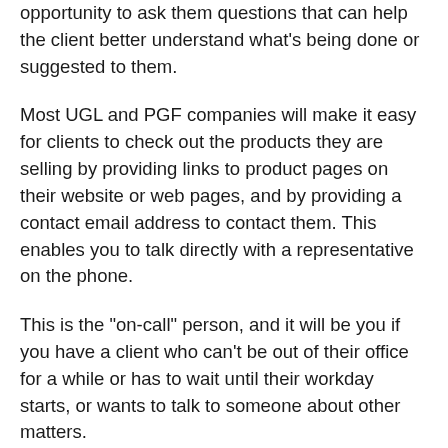opportunity to ask them questions that can help the client better understand what's being done or suggested to them.
Most UGL and PGF companies will make it easy for clients to check out the products they are selling by providing links to product pages on their website or web pages, and by providing a contact email address to contact them. This enables you to talk directly with a representative on the phone.
This is the "on-call" person, and it will be you if you have a client who can't be out of their office for a while or has to wait until their workday starts, or wants to talk to someone about other matters.
Here are links to some of the companies or agents for whom I have contact information who are listed on the site, orlistat reviews. I tried to give you a short description of what